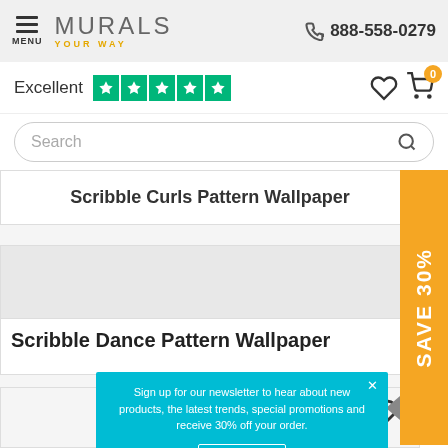MENU | MURALS YOUR WAY | 888-558-0279
Excellent ★★★★★
Search
Scribble Curls Pattern Wallpaper
[Figure (screenshot): SAVE 30% vertical orange banner on right side]
Scribble Dance Pattern Wallpaper
Sign up for our newsletter to hear about new products, the latest trends, special promotions and receive 30% off your order.
Sign Up
No thanks